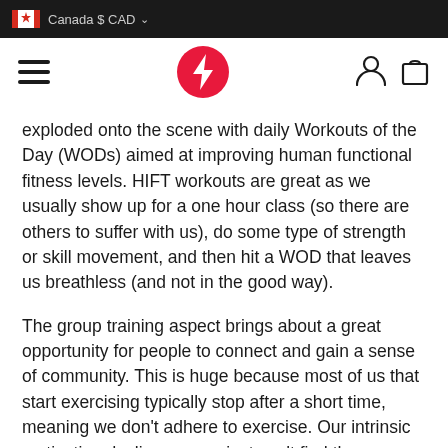Canada $ CAD
exploded onto the scene with daily Workouts of the Day (WODs) aimed at improving human functional fitness levels. HIFT workouts are great as we usually show up for a one hour class (so there are others to suffer with us), do some type of strength or skill movement, and then hit a WOD that leaves us breathless (and not in the good way).
The group training aspect brings about a great opportunity for people to connect and gain a sense of community. This is huge because most of us that start exercising typically stop after a short time, meaning we don't adhere to exercise. Our intrinsic motivation declines as we just can't find the motivation within ourselves to actually continue